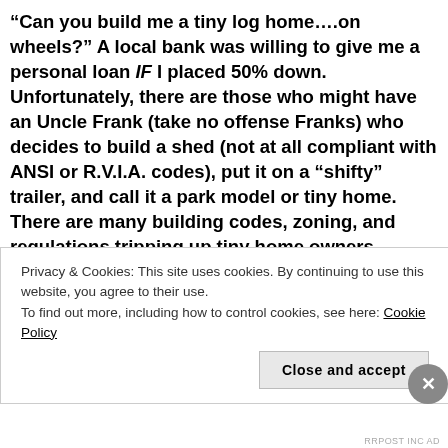“Can you build me a tiny log home….on wheels?” A local bank was willing to give me a personal loan IF I placed 50% down. Unfortunately, there are those who might have an Uncle Frank (take no offense Franks) who decides to build a shed (not at all compliant with ANSI or R.V.I.A. codes), put it on a “shifty” trailer, and call it a park model or tiny home. There are many building codes, zoning, and regulations tripping up tiny home owners. Furthermore, you have to have SOMEWHERE to place it. It’s WAY easier to get an R.V. loan than a park model or tiny home (typical salesman: “I’d love for you to buy that $60,000.00 rig for huge interest
Privacy & Cookies: This site uses cookies. By continuing to use this website, you agree to their use.
To find out more, including how to control cookies, see here: Cookie Policy
Close and accept